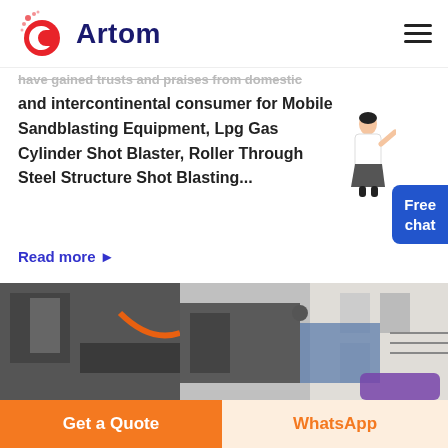Artom
have gained trusts and praises from domestic and intercontinental consumer for Mobile Sandblasting Equipment, Lpg Gas Cylinder Shot Blaster, Roller Through Steel Structure Shot Blasting...
Read more ▶
[Figure (photo): Industrial shot blasting machine equipment photo]
Get a Quote
WhatsApp